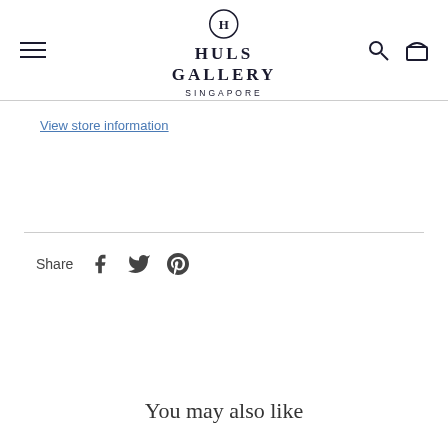HULS GALLERY SINGAPORE
View store information
Share
You may also like